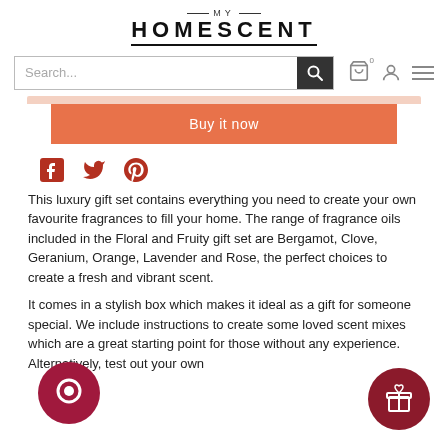MY HOMESCENT
[Figure (screenshot): Search bar with dark search button icon, and navigation icons (cart with 0, user profile, hamburger menu) on the right]
[Figure (screenshot): Orange 'Buy it now' button]
[Figure (infographic): Social sharing icons: Facebook (f), Twitter (bird), Pinterest (P) in dark red/crimson color]
This luxury gift set contains everything you need to create your own favourite fragrances to fill your home.  The range of fragrance oils included in the Floral and Fruity gift set are Bergamot, Clove, Geranium, Orange, Lavender and Rose, the perfect choices to create a fresh and vibrant scent.
It comes in a stylish box which makes it ideal as a gift for someone special.  We include instructions to create some loved scent mixes which are a great starting point for those without any experience.  Alternatively, test out your own